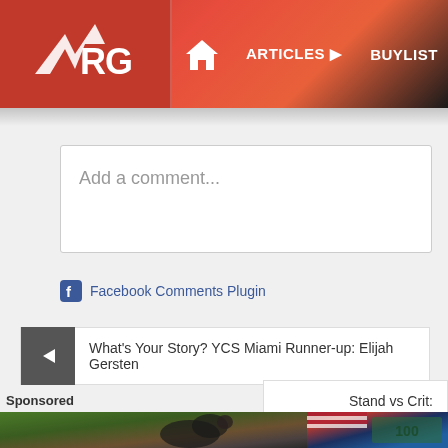[Figure (screenshot): Website navigation bar with ARG logo, home icon, ARTICLES, BUYLIST, FIND CARDS, EVEN... menu items on red/dark gradient background]
Add a comment...
Facebook Comments Plugin
What's Your Story? YCS Miami Runner-up: Elijah Gersten
Stand vs Crit:
Sponsored
[Figure (photo): Sponsored image: black dog near a tree in outdoor setting]
[Figure (photo): Sponsored image: US flag and money/currency]